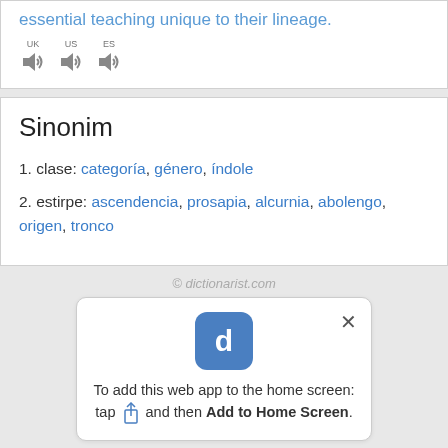essential teaching unique to their lineage.
[Figure (other): UK, US, ES audio pronunciation buttons with speaker icons]
Sinonim
1. clase: categoría, género, índole
2. estirpe: ascendencia, prosapia, alcurnia, abolengo, origen, tronco
© dictionarist.com
[Figure (screenshot): App install popup: Dictionarist app icon, close button, text 'To add this web app to the home screen: tap [share icon] and then Add to Home Screen.']